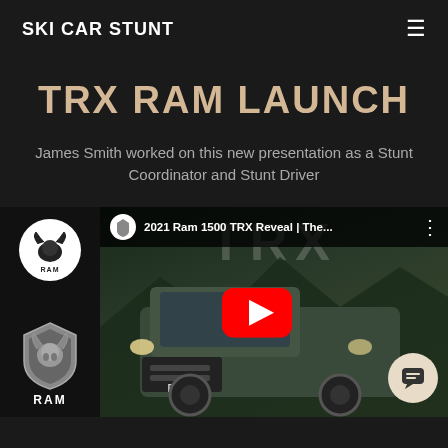SKI CAR STUNT
TRX RAM LAUNCH
James Smith worked on this new presentation as a Stunt Coordinator and Stunt Driver
[Figure (screenshot): YouTube video thumbnail showing 2021 Ram 1500 TRX Reveal with RAM logo sidebar, play button, and TRX truck front view against dark background]